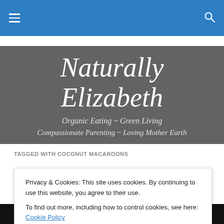Navigation bar with hamburger menu and search icon
Naturally Elizabeth
Organic Eating ~ Green Living
Compassionate Parenting ~ Loving Mother Earth
TAGGED WITH COCONUT MACAROONS
CFDF Coconut Macaroons
Privacy & Cookies: This site uses cookies. By continuing to use this website, you agree to their use.
To find out more, including how to control cookies, see here: Cookie Policy
Close and accept